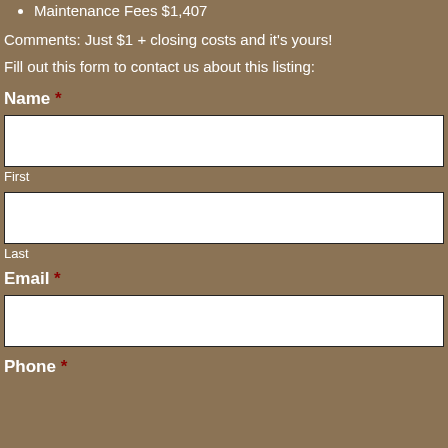Maintenance Fees $1,407
Comments: Just $1 + closing costs and it's yours!
Fill out this form to contact us about this listing:
Name *
First
Last
Email *
Phone *